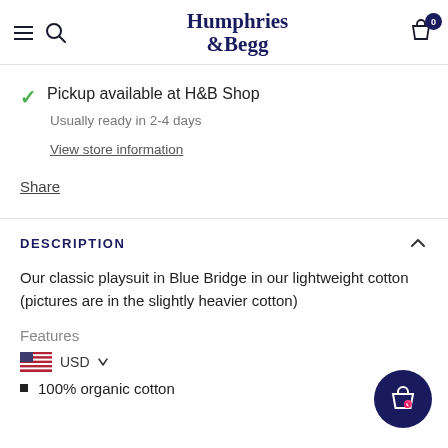Humphries & Begg
Pickup available at H&B Shop
Usually ready in 2-4 days
View store information
Share
DESCRIPTION
Our classic playsuit in Blue Bridge in our lightweight cotton (pictures are in the slightly heavier cotton)
Features
USD
100% organic cotton